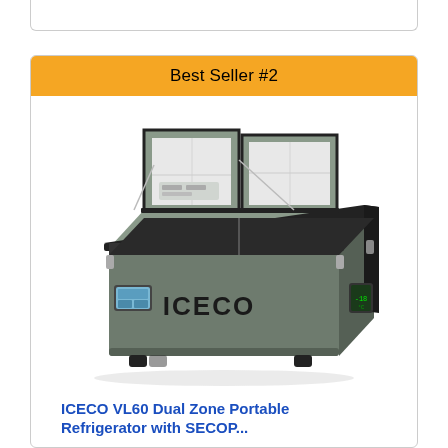Best Seller #2
[Figure (photo): ICECO VL60 dual zone portable refrigerator with two open lids showing interior compartments, gray body with ICECO branding, digital display on side, and metal latches]
ICECO VL60 Dual Zone Portable Refrigerator with SECOP...